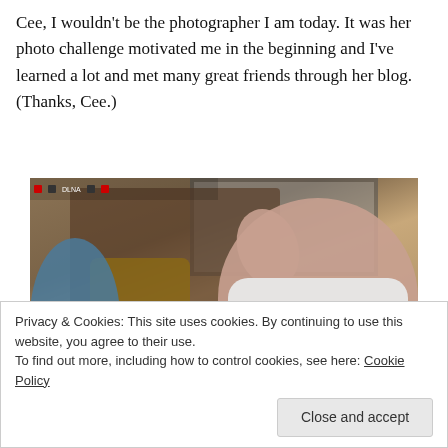Cee, I wouldn't be the photographer I am today. It was her photo challenge motivated me in the beginning and I've learned a lot and met many great friends through her blog. (Thanks, Cee.)
[Figure (photo): A photograph showing a woman in a white long-sleeve shirt gesturing with her hand raised, seated at a restaurant table. In the background is a wooden shelf with condiment bottles and a framed picture on the wall. Another person is partially visible on the left in blue clothing.]
Privacy & Cookies: This site uses cookies. By continuing to use this website, you agree to their use.
To find out more, including how to control cookies, see here: Cookie Policy
Close and accept